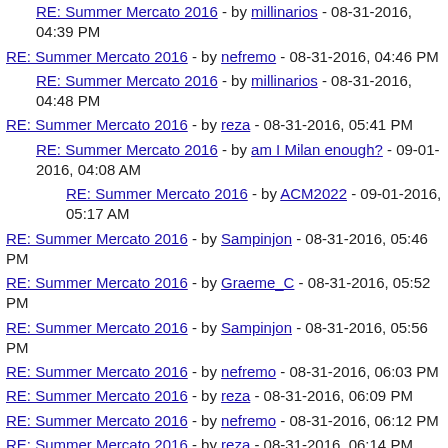RE: Summer Mercato 2016 - by millinarios - 08-31-2016, 04:39 PM
RE: Summer Mercato 2016 - by nefremo - 08-31-2016, 04:46 PM
RE: Summer Mercato 2016 - by millinarios - 08-31-2016, 04:48 PM
RE: Summer Mercato 2016 - by reza - 08-31-2016, 05:41 PM
RE: Summer Mercato 2016 - by am I Milan enough? - 09-01-2016, 04:08 AM
RE: Summer Mercato 2016 - by ACM2022 - 09-01-2016, 05:17 AM
RE: Summer Mercato 2016 - by Sampinjon - 08-31-2016, 05:46 PM
RE: Summer Mercato 2016 - by Graeme_C - 08-31-2016, 05:52 PM
RE: Summer Mercato 2016 - by Sampinjon - 08-31-2016, 05:56 PM
RE: Summer Mercato 2016 - by nefremo - 08-31-2016, 06:03 PM
RE: Summer Mercato 2016 - by reza - 08-31-2016, 06:09 PM
RE: Summer Mercato 2016 - by nefremo - 08-31-2016, 06:12 PM
RE: Summer Mercato 2016 - by reza - 08-31-2016, 06:14 PM
RE: Summer Mercato 2016 - by nefremo - 08-31-2016, 06:33 PM
RE: Summer Mercato 2016 - by Sampinjon - 08-31-2016, ...